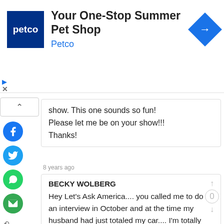[Figure (screenshot): Petco advertisement banner with logo, title 'Your One-Stop Summer Pet Shop', subtitle 'Petco', and blue diamond navigation arrow]
show. This one sounds so fun!
Please let me be on your show!!!
Thanks!
8 years ago
BECKY WOLBERG
Hey Let's Ask America.... you called me to do an interview in October and at the time my husband had just totaled my car.... I'm totally ready to do this!!! Please contact me again....